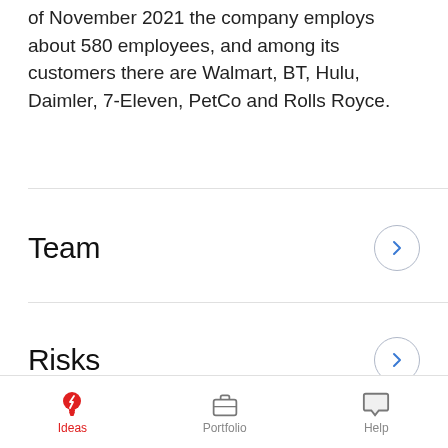of November 2021 the company employs about 580 employees, and among its customers there are Walmart, BT, Hulu, Daimler, 7-Eleven, PetCo and Rolls Royce.
Team
Risks
Financials
Ideas  Portfolio  Help